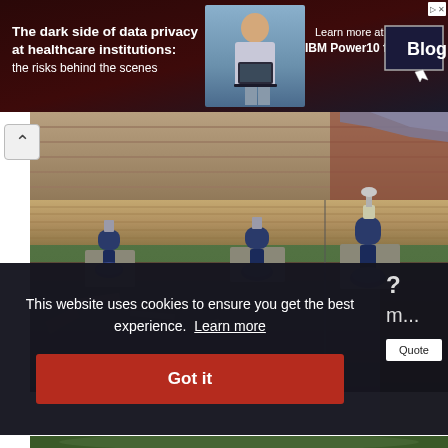[Figure (photo): Advertisement banner: 'The dark side of data privacy at healthcare institutions: the risks behind the scenes' with IBM Power10 for Epic Blog button]
[Figure (photo): Construction photo showing a house being lifted with hydraulic jacks under the floor joists, with concrete blocks and blue bottle jacks visible]
This website uses cookies to ensure you get the best experience. Learn more
Got it
[Figure (photo): Partial bottom photo strip showing greenery/nature scene]